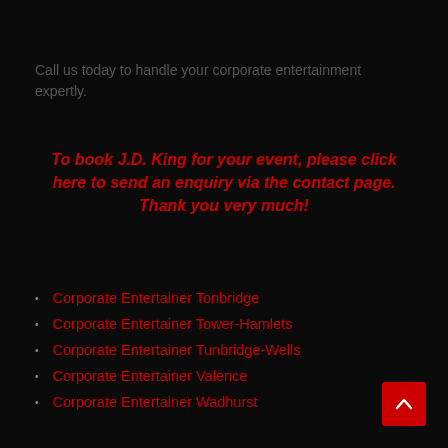Call us today to handle your corporate entertainment expertly.
To book J.D. King for your event, please click here to send an enquiry via the contact page. Thank you very much!
Corporate Entertainer Tonbridge
Corporate Entertainer Tower-Hamlets
Corporate Entertainer Tunbridge-Wells
Corporate Entertainer Valence
Corporate Entertainer Wadhurst